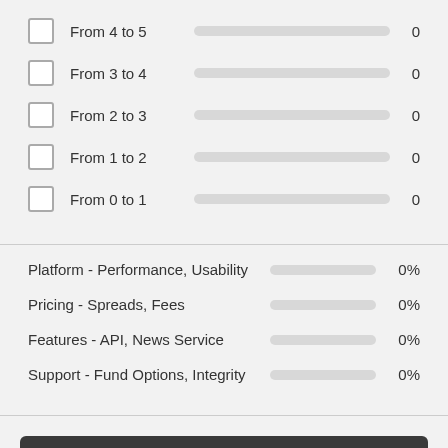From 4 to 5  0
From 3 to 4  0
From 2 to 3  0
From 1 to 2  0
From 0 to 1  0
Platform - Performance, Usability  0%
Pricing - Spreads, Fees  0%
Features - API, News Service  0%
Support - Fund Options, Integrity  0%
Post review